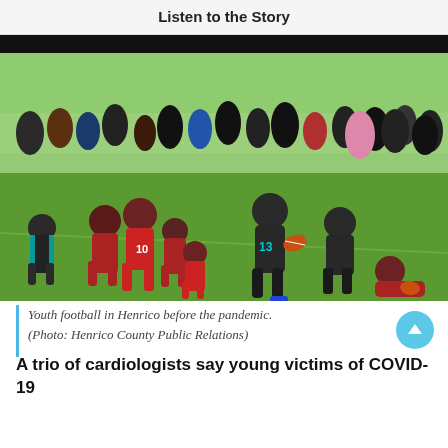Listen to the Story
[Figure (photo): Youth football game in Henrico County before the pandemic. Multiple young players in dark and red uniforms actively playing on a green field, with spectators watching in the background.]
Youth football in Henrico before the pandemic. (Photo: Henrico County Public Relations)
A trio of cardiologists say young victims of COVID-19